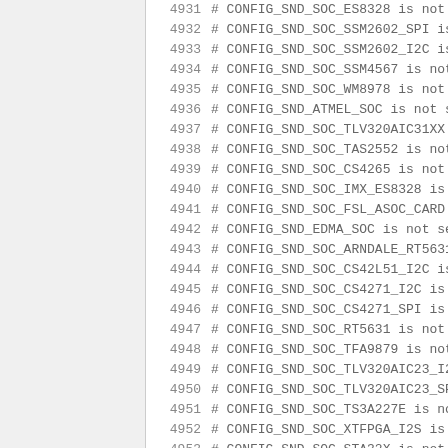4931 # CONFIG_SND_SOC_ES8328 is not set
4932 # CONFIG_SND_SOC_SSM2602_SPI is not set
4933 # CONFIG_SND_SOC_SSM2602_I2C is not set
4934 # CONFIG_SND_SOC_SSM4567 is not set
4935 # CONFIG_SND_SOC_WM8978 is not set
4936 # CONFIG_SND_ATMEL_SOC is not set
4937 # CONFIG_SND_SOC_TLV320AIC31XX is not se
4938 # CONFIG_SND_SOC_TAS2552 is not set
4939 # CONFIG_SND_SOC_CS4265 is not set
4940 # CONFIG_SND_SOC_IMX_ES8328 is not set
4941 # CONFIG_SND_SOC_FSL_ASOC_CARD is not se
4942 # CONFIG_SND_EDMA_SOC is not set
4943 # CONFIG_SND_SOC_ARNDALE_RT5631_ALC5631
4944 # CONFIG_SND_SOC_CS42L51_I2C is not set
4945 # CONFIG_SND_SOC_CS4271_I2C is not set
4946 # CONFIG_SND_SOC_CS4271_SPI is not set
4947 # CONFIG_SND_SOC_RT5631 is not set
4948 # CONFIG_SND_SOC_TFA9879 is not set
4949 # CONFIG_SND_SOC_TLV320AIC23_I2C is not
4950 # CONFIG_SND_SOC_TLV320AIC23_SPI is not
4951 # CONFIG_SND_SOC_TS3A227E is not set
4952 # CONFIG_SND_SOC_XTFPGA_I2S is not set
4953 # CONFIG_SND_SOC_STA32X is not set
4954
4955 CONFIG_BALLOON_COMPACTION=y